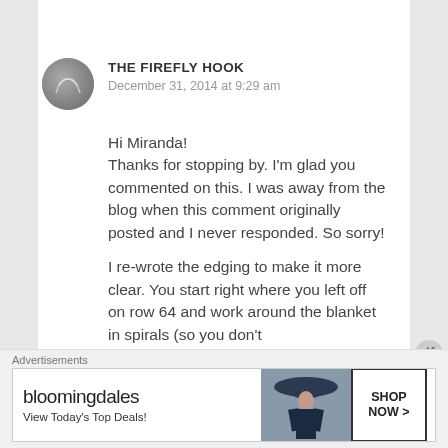THE FIREFLY HOOK
December 31, 2014 at 9:29 am
Hi Miranda!
Thanks for stopping by. I'm glad you commented on this. I was away from the blog when this comment originally posted and I never responded. So sorry!

I re-wrote the edging to make it more clear. You start right where you left off on row 64 and work around the blanket in spirals (so you don't
Advertisements
[Figure (other): Bloomingdales advertisement banner with text 'bloomingdales', 'View Today's Top Deals!' and 'SHOP NOW >' button with a woman wearing a large hat]